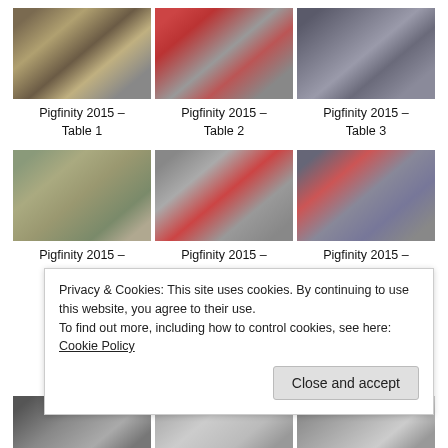[Figure (photo): Pigfinity 2015 Table 1 - photo of items on a brown table]
Pigfinity 2015 – Table 1
[Figure (photo): Pigfinity 2015 Table 2 - photo of red items on a table]
Pigfinity 2015 – Table 2
[Figure (photo): Pigfinity 2015 Table 3 - photo of items on a dark table]
Pigfinity 2015 – Table 3
[Figure (photo): Pigfinity 2015 - second row left - items on table]
Pigfinity 2015 –
[Figure (photo): Pigfinity 2015 - second row center]
Pigfinity 2015 –
[Figure (photo): Pigfinity 2015 - second row right]
Pigfinity 2015 –
Privacy & Cookies: This site uses cookies. By continuing to use this website, you agree to their use.
To find out more, including how to control cookies, see here: Cookie Policy
Close and accept
[Figure (photo): Pigfinity 2015 - bottom row left]
[Figure (photo): Pigfinity 2015 - bottom row center]
[Figure (photo): Pigfinity 2015 - bottom row right]